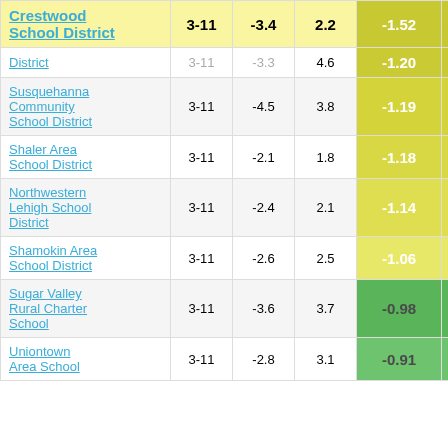| School District | Grades | Col3 | Col4 | Score |  |
| --- | --- | --- | --- | --- | --- |
| Crestwood School District | 3-11 | -3.4 | 2.2 | -1.52 | 3 |
| District | 3-11 | -3.3 | 4.6 | -1.20 |  |
| Susquehanna Community School District | 3-11 | -4.5 | 3.8 | -1.19 |  |
| Shaler Area School District | 3-11 | -2.1 | 1.8 | -1.18 |  |
| Northwestern Lehigh School District | 3-11 | -2.4 | 2.1 | -1.14 |  |
| Shamokin Area School District | 3-11 | -2.6 | 2.5 | -1.06 |  |
| Sugar Valley Rural Charter School | 3-11 | -3.6 | 3.7 | -0.98 |  |
| Uniontown Area School District | 3-11 | -2.8 | 3.1 | -0.91 |  |